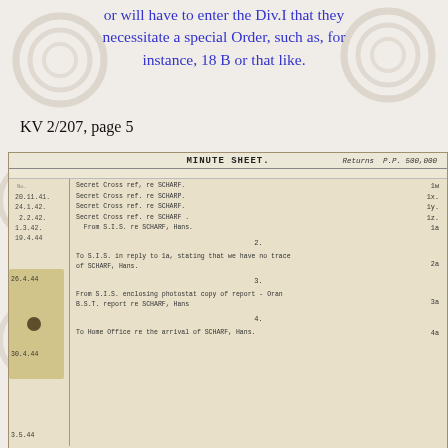or will have to enter the Div.I that they necessitate a special Order, such as, for instance, 18 B or that like.
KV 2/207, page 5
[Figure (other): Scanned MINUTE SHEET document. Header: MINUTE SHEET, Returns P.P. 500,000. Entries: 20.11.41 Secret Cross ref, re SCHARF. 1w; 24.1.42 Secret Cross ref. re SCHARF. 1x.; 2.2.42. Secret Cross ref. re SCHARF. 1y.; 1.3.42. Secret Cross ref. re SCHARF. 1z.; 19.4.44 From S.I.S. re SCHARF, Hans. 1a; [divider 2.]; 26.4.44 To S.I.S. in reply to 1a, stating that we have no trace of SCHARF, Hans. 2a; [divider 3.]; 30.4.44 From S.I.S. enclosing photostat copy of report - Oran B.S.T. report re SCHARF, Hans 3a; [divider 4.]; 3.5.44 To Home Office re the arrival of SCHARF, Hans. 4a]